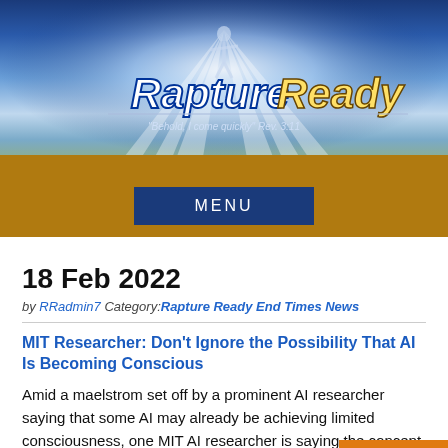[Figure (illustration): Rapture Ready website banner with blue sky, radiant light rays, silhouette of figure with arms raised, logo text 'Rapture Ready' and tagline 'Behold, I come quickly Rev. 3:11']
[Figure (other): Gold/brown navigation bar with dark blue 'MENU' button in center]
18 Feb 2022
by RRadmin7 Category:Rapture Ready End Times News
MIT Researcher: Don't Ignore the Possibility That AI Is Becoming Conscious
Amid a maelstrom set off by a prominent AI researcher saying that some AI may already be achieving limited consciousness, one MIT AI researcher is saying the concept might not be so far-fetched.